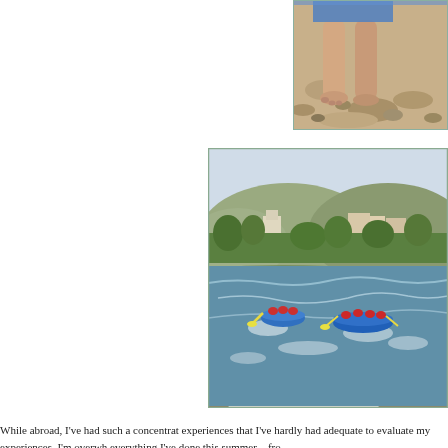[Figure (photo): Close-up photo of someone's bare legs and feet standing on sandy/rocky ground, wearing shorts and a blue bag or strap visible at top.]
[Figure (photo): Outdoor river rafting scene showing two blue inflatable rafts with people wearing red life jackets paddling on a rocky river, with green vegetation, hills, and buildings in the background.]
While abroad, I've had such a concentrated experiences that I've hardly had adequate to evaluate my experiences. I'm overwh everything I've done this summer – fro